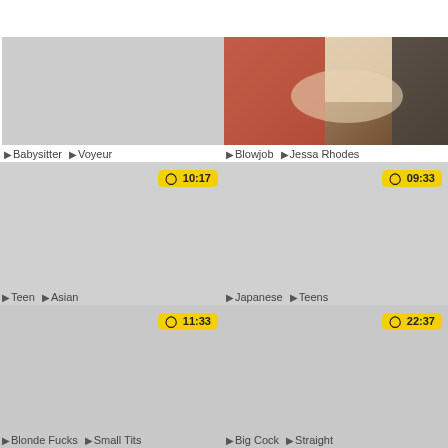[Figure (photo): Top left video thumbnail placeholder (gray)]
Babysitter Voyeur
[Figure (photo): Top right video thumbnail showing a woman in plaid with two people on a couch]
Blowjob Jessa Rhodes
[Figure (photo): Middle left video thumbnail placeholder with duration badge 10:17]
Teen Asian
[Figure (photo): Middle right video thumbnail placeholder with duration badge 09:33]
Japanese Teens
[Figure (photo): Bottom left video thumbnail placeholder with duration badge 11:33]
Blonde Fucks Small Tits
[Figure (photo): Bottom right video thumbnail placeholder with duration badge 22:37]
Big Cock Straight